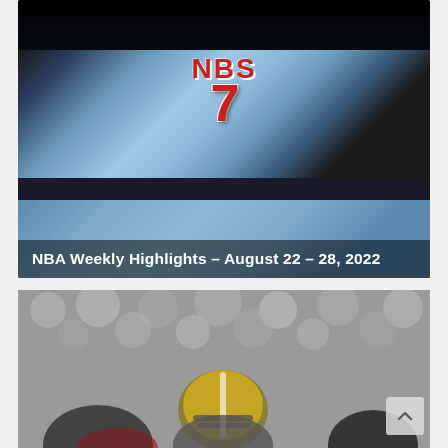[Figure (photo): Basketball player wearing light blue jersey with red number 7, dark background with crowd, NBA game setting]
NBA Weekly Highlights – August 22 – 28, 2022
[Figure (photo): Black and white photo of American football players, one wearing a New Orleans Saints gold helmet, blurred crowd in background]